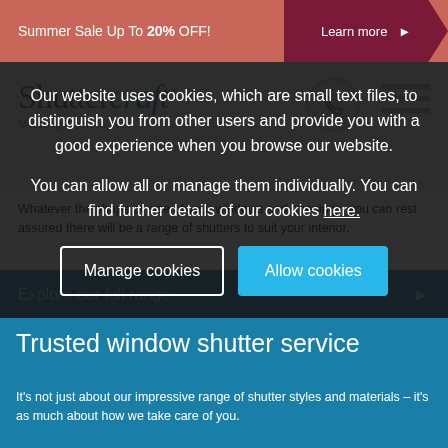Summer Sale Up To 20% OFF! | Learn more
[Figure (logo): Shuttercraft logo with tagline 'Making light work']
Our website uses cookies, which are small text files, to distinguish you from other users and provide you with a good experience when you browse our website.
You can allow all or manage them individually. You can find further details of our cookies here.
Manage cookies | Allow cookies
Whatever the shape or size of your windows and openings, you can rest assured there will be a range of shutters to suit your interior.
Explore our full range
Trusted window shutter service
It's not just about our impressive range of shutter styles and materials – it's as much about how we take care of you.